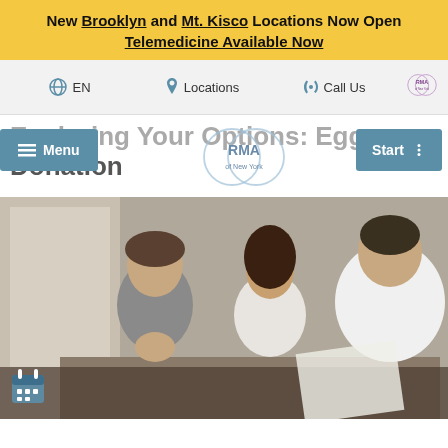New Brooklyn and Mt. Kisco Locations Now Open
Telemedicine Available Now
EN | Locations | Call Us
Exploring Your Options: Egg Donation
[Figure (photo): A couple sitting across a desk from a doctor or consultant, appearing attentive during a medical consultation meeting]
[Figure (logo): RMA of New York logo — two overlapping circles with RMA text]